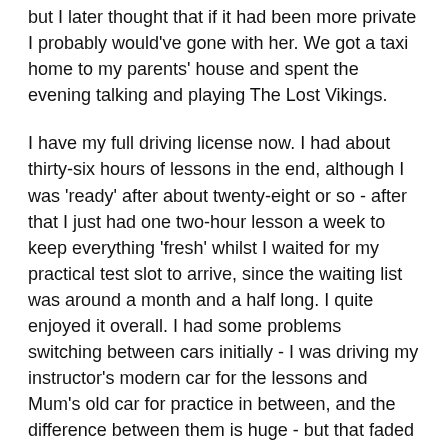but I later thought that if it had been more private I probably would've gone with her. We got a taxi home to my parents' house and spent the evening talking and playing The Lost Vikings.
I have my full driving license now. I had about thirty-six hours of lessons in the end, although I was 'ready' after about twenty-eight or so - after that I just had one two-hour lesson a week to keep everything 'fresh' whilst I waited for my practical test slot to arrive, since the waiting list was around a month and a half long. I quite enjoyed it overall. I had some problems switching between cars initially - I was driving my instructor's modern car for the lessons and Mum's old car for practice in between, and the difference between them is huge - but that faded and disappeared eventually. I was mostly nervous about the theory test, but luckily I got quite a good set of questions and passed that quite easily. The practical test wasn't great in my opinion, but I feel like that was just unlucky in the way things